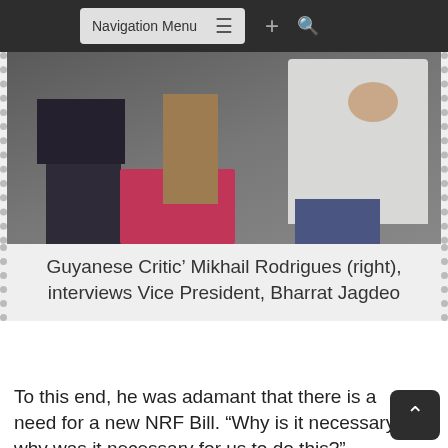Navigation Menu
[Figure (photo): Two people seated, one interviewing the other. The person on the right wears a light-colored jacket/shirt.]
Guyanese Critic' Mikhail Rodrigues (right), interviews Vice President, Bharrat Jagdeo
To this end, he was adamant that there is a need for a new NRF Bill. “Why is it necessary, why was it necessary for us to do this?”
According to the President, “this was a campaign promise. It was a campaign promise that we are going to have an amendment of this bill for a number of reasons.”